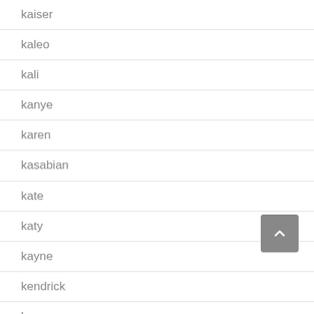kaiser
kaleo
kali
kanye
karen
kasabian
kate
katy
kayne
kendrick
kenny
ke…